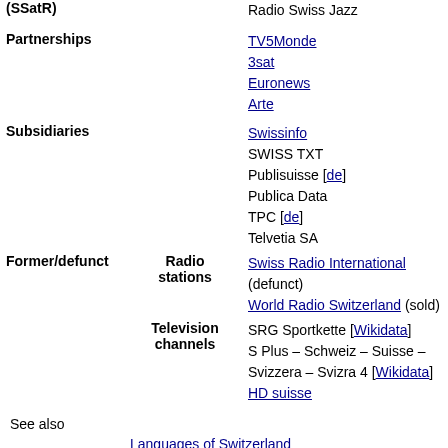| (SSatR) | Radio Swiss Jazz |
| Partnerships | TV5Monde
3sat
Euronews
Arte |
| Subsidiaries | Swissinfo
SWISS TXT
Publisuisse [de]
Publica Data
TPC [de]
Telvetia SA |
| Former/defunct / Radio stations | Swiss Radio International (defunct)
World Radio Switzerland (sold) |
| Former/defunct / Television channels | SRG Sportkette [Wikidata]
S Plus – Schweiz – Suisse – Svizzera – Svizra 4 [Wikidata]
HD suisse |
See also
Languages of Switzerland
Mass media in Switzerland